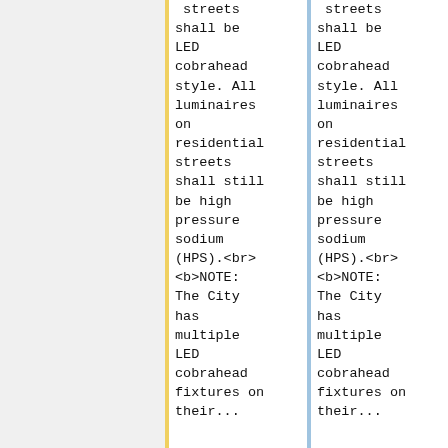streets shall be LED cobrahead style. All luminaires on residential streets shall still be high pressure sodium (HPS).<br> <b>NOTE: The City has multiple LED cobrahead fixtures on their...
streets shall be LED cobrahead style. All luminaires on residential streets shall still be high pressure sodium (HPS).<br> <b>NOTE: The City has multiple LED cobrahead fixtures on their...